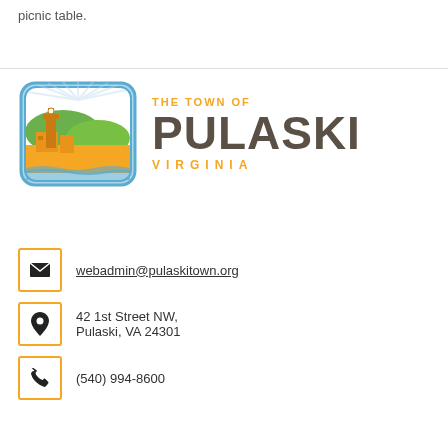picnic table.
[Figure (logo): The Town of Pulaski, Virginia logo with illustrated town scene inside rounded rectangle and text to the right]
webadmin@pulaskitown.org
42 1st Street NW, Pulaski, VA 24301
(540) 994-8600